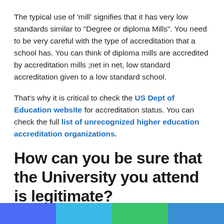The typical use of 'mill' signifies that it has very low standards similar to "Degree or diploma Mills". You need to be very careful with the type of accreditation that a school has. You can think of diploma mills are accredited by accreditation mills ;net in net, low standard accreditation given to a low standard school.
That's why it is critical to check the US Dept of Education website for accreditation status. You can check the full list of unrecognized higher education accreditation organizations.
How can you be sure that the University you attend is legitimate?